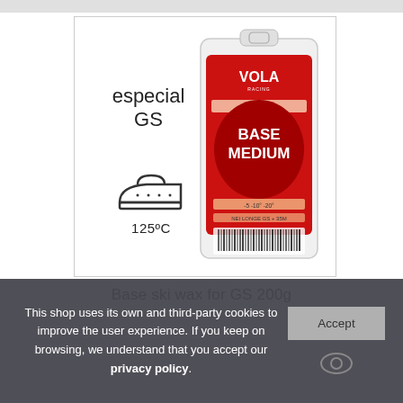[Figure (photo): VOLA Racing BASE MEDIUM ski wax product in red packaging, 200g, shown in a white display box with iron icon and '125ºC' temperature label on the left side]
Base ski wax for GS 200g
This shop uses its own and third-party cookies to improve the user experience. If you keep on browsing, we understand that you accept our privacy policy.